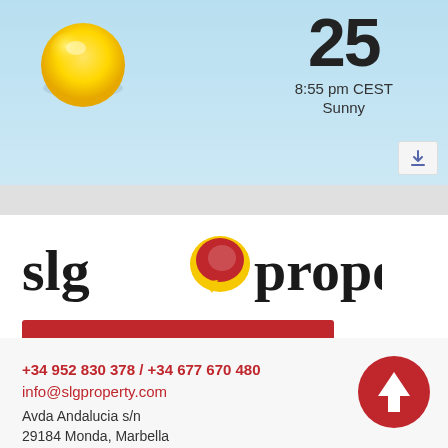[Figure (screenshot): Weather widget showing sunny weather, temperature 25, 8:55 pm CEST, Sunny]
[Figure (logo): SLG Property logo with speech bubble icon]
SUBSCRIBE NEWSLETTER >
[Figure (infographic): Social media icons: Facebook, Instagram, YouTube, LinkedIn]
+34 952 830 378 / +34 677 670 480
info@slgproperty.com
Avda Andalucia s/n
29184 Monda, Marbella